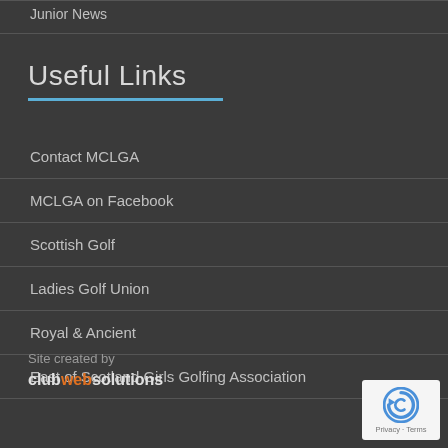Junior News
Useful Links
Contact MCLGA
MCLGA on Facebook
Scottish Golf
Ladies Golf Union
Royal & Ancient
East of Scotland Girls Golfing Association
Site created by clubwebsolutions
[Figure (logo): reCAPTCHA badge with Privacy and Terms links]